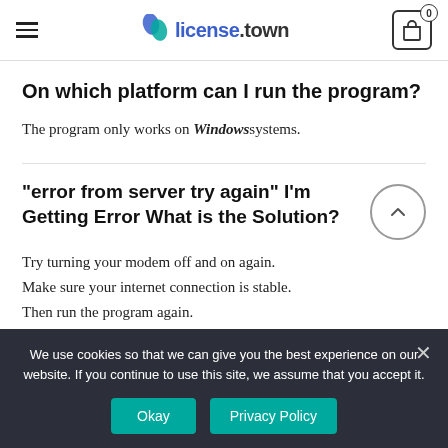license.town
On which platform can I run the program?
The program only works on Windows systems.
“error from server try again” I’m Getting Error What is the Solution?
Try turning your modem off and on again.
Make sure your internet connection is stable.
Then run the program again.
We use cookies so that we can give you the best experience on our website. If you continue to use this site, we assume that you accept it.